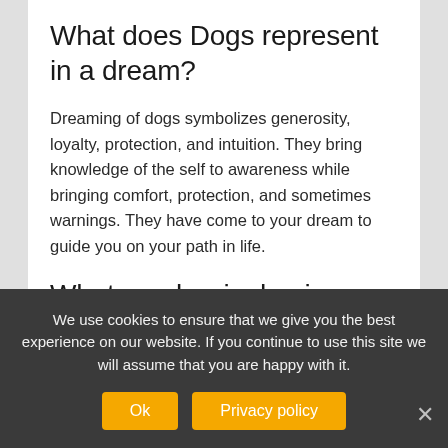What does Dogs represent in a dream?
Dreaming of dogs symbolizes generosity, loyalty, protection, and intuition. They bring knowledge of the self to awareness while bringing comfort, protection, and sometimes warnings. They have come to your dream to guide you on your path in life.
What number is dog in a dream?
“For example, you may decide (from a dream…) that the appropriate symbol for you this week is a
We use cookies to ensure that we give you the best experience on our website. If you continue to use this site we will assume that you are happy with it.